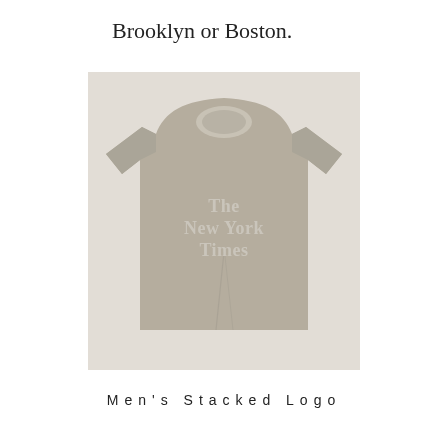Brooklyn or Boston.
[Figure (photo): A beige/tan men's t-shirt displayed flat, featuring The New York Times logo printed in a lighter tone on the chest area.]
Men's Stacked Logo